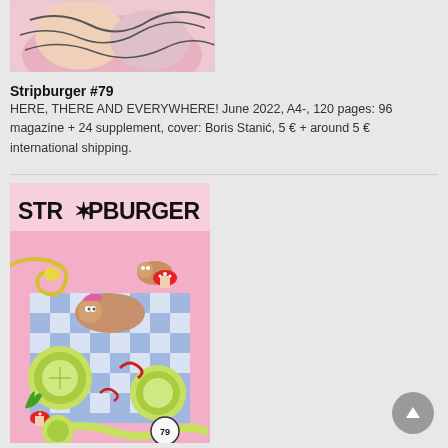[Figure (illustration): Partial view of a comic/illustration showing pink and colorful artwork, cropped at top of page]
Stripburger #79
HERE, THERE AND EVERYWHERE! June 2022, A4-, 120 pages: 96 magazine + 24 supplement, cover: Boris Stanić, 5 € + around 5 € international shipping.
[Figure (illustration): Cover of Stripburger magazine #79 featuring illustrated burger-person characters on a pink picnic blanket with cucumber slices, mushrooms, and other food items. Title STRIPBURGER in bold black letters at top.]